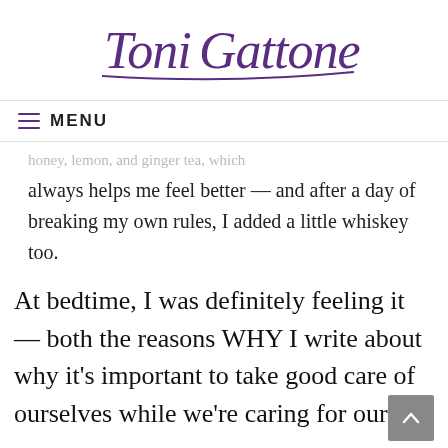[Figure (logo): Toni Gattone cursive signature logo in purple]
≡ MENU
honey, lemon, and ginger tea, which always helps me feel better — and after a day of breaking my own rules, I added a little whiskey too.
At bedtime, I was definitely feeling it — both the reasons WHY I write about why it's important to take good care of ourselves while we're caring for our